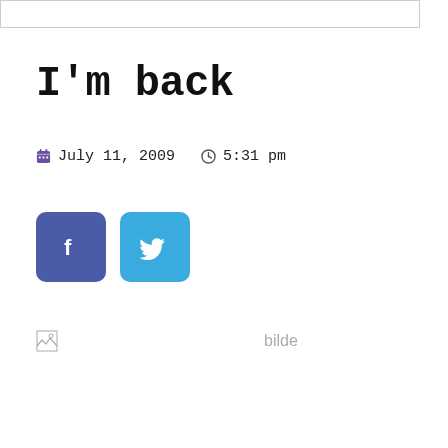I'm back
July 11, 2009   5:31 pm
[Figure (other): Facebook and Twitter share buttons]
[Figure (other): Broken image placeholder with alt text 'bilde']